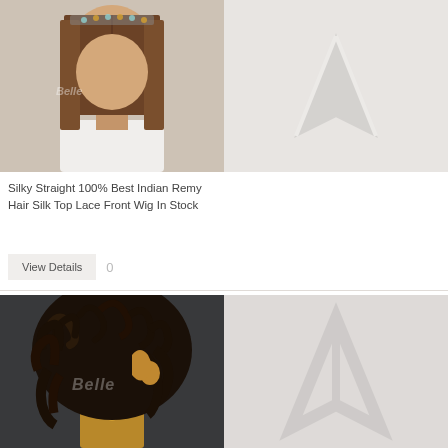[Figure (photo): Product photo of silky straight Indian Remy hair wig on mannequin, top portion cropped, showing brown straight hair]
[Figure (photo): Placeholder product image with faint Magento logo watermark on light grey background]
Silky Straight 100% Best Indian Remy Hair Silk Top Lace Front Wig In Stock
View Details  0
View Details
[Figure (photo): Product photo of curly black wig on dark mannequin head, side profile, with Belle watermark]
[Figure (photo): Placeholder product image with faint Magento logo watermark on light grey/pink background]